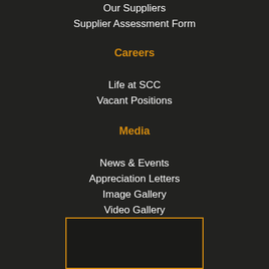Our Suppliers
Supplier Assessment Form
Careers
Life at SCC
Vacant Positions
Media
News & Events
Appreciation Letters
Image Gallery
Video Gallery
[Figure (other): Orange-bordered rectangle box at bottom center of page]